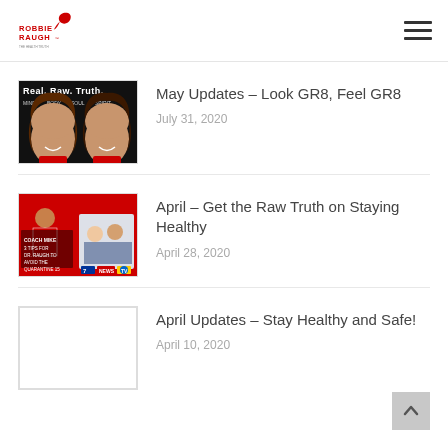Robbie Raugh
[Figure (illustration): Thumbnail image: comic-style illustration of two women with text 'Real. Raw. Truth' and 'Mind Body Soul Spirit']
May Updates – Look GR8, Feel GR8
July 31, 2020
[Figure (photo): Thumbnail image: red background with woman in red and TV news segment imagery with logos]
April – Get the Raw Truth on Staying Healthy
April 28, 2020
[Figure (photo): Thumbnail image: blank white placeholder]
April Updates – Stay Healthy and Safe!
April 10, 2020